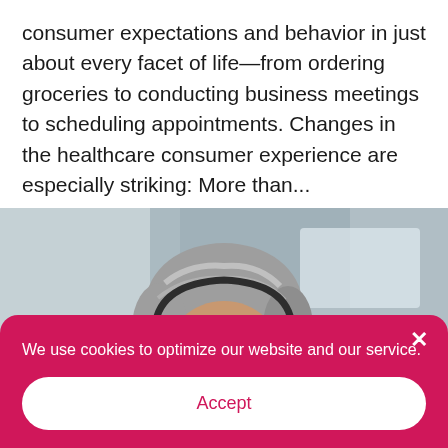consumer expectations and behavior in just about every facet of life—from ordering groceries to conducting business meetings to scheduling appointments. Changes in the healthcare consumer experience are especially striking: More than...
[Figure (photo): Older woman with gray hair wearing a headset, looking downward, blurred background.]
We use cookies to optimize our website and our service.
Accept